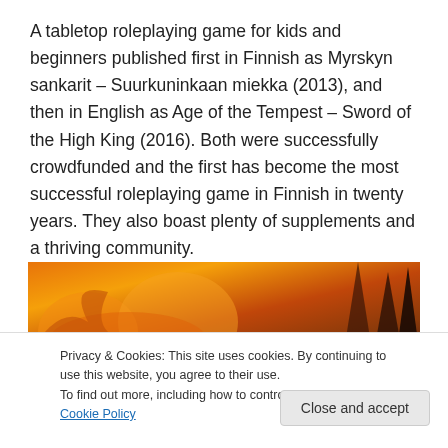A tabletop roleplaying game for kids and beginners published first in Finnish as Myrskyn sankarit – Suurkuninkaan miekka (2013), and then in English as Age of the Tempest – Sword of the High King (2016). Both were successfully crowdfunded and the first has become the most successful roleplaying game in Finnish in twenty years. They also boast plenty of supplements and a thriving community.
[Figure (photo): Partial view of a fantasy artwork showing flames and dark tree silhouettes in orange and brown tones]
Privacy & Cookies: This site uses cookies. By continuing to use this website, you agree to their use.
To find out more, including how to control cookies, see here: Cookie Policy
Close and accept